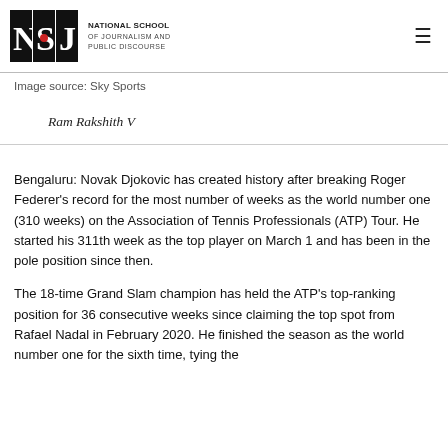NSJ — National School of Journalism and Public Discourse
Image source: Sky Sports
Ram Rakshith V
Bengaluru: Novak Djokovic has created history after breaking Roger Federer's record for the most number of weeks as the world number one (310 weeks) on the Association of Tennis Professionals (ATP) Tour. He started his 311th week as the top player on March 1 and has been in the pole position since then.
The 18-time Grand Slam champion has held the ATP's top-ranking position for 36 consecutive weeks since claiming the top spot from Rafael Nadal in February 2020. He finished the season as the world number one for the sixth time, tying the